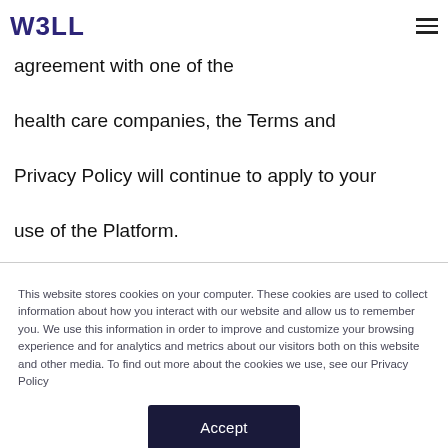W3LL
agreement with one of the health care companies, the Terms and Privacy Policy will continue to apply to your use of the Platform.

Nothing on, or related to, the
This website stores cookies on your computer. These cookies are used to collect information about how you interact with our website and allow us to remember you. We use this information in order to improve and customize your browsing experience and for analytics and metrics about our visitors both on this website and other media. To find out more about the cookies we use, see our Privacy Policy
Accept